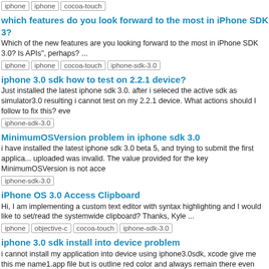which features do you look forward to the most in iPhone SDK 3?
Which of the new features are you looking forward to the most in iPhone SDK 3.0? Is APIs", perhaps? ...
Tags: iphone, iphone, cocoa-touch, iphone-sdk-3.0
iphone 3.0 sdk how to test on 2.2.1 device?
Just installed the latest iphone sdk 3.0. after i seleced the active sdk as simulator3.0 resulting i cannot test on my 2.2.1 device. What actions should I follow to fix this? eve
Tags: iphone-sdk-3.0
MinimumOSVersion problem in iphone sdk 3.0
i have installed the latest iphone sdk 3.0 beta 5, and trying to submit the first applica... uploaded was invalid. The value provided for the key MinimumOSVersion is not acce
Tags: iphone-sdk-3.0
iPhone OS 3.0 Access Clipboard
Hi, I am implementing a custom text editor with syntax highlighting and I would like to set/read the systemwide clipboard? Thanks, Kyle ...
Tags: iphone, objective-c, cocoa-touch, iphone-sdk-3.0
iphone 3.0 sdk install into device problem
i cannot install my application into device using iphone3.0sdk, xcode give me this me name1.app file but is outline red color and always remain there even thought i have c
Tags: iphone-sdk-3.0
iphone sdk 3.0, testing on firmware, not just simulator
Testing an application built with iphone's sdk 3.0. Based on experience, I know that b so far. Is it possible to put the 3.0 beta firmware (not sdk) on a hardware device, and
Tags: iphone, iphone, iphone-sdk-3.0